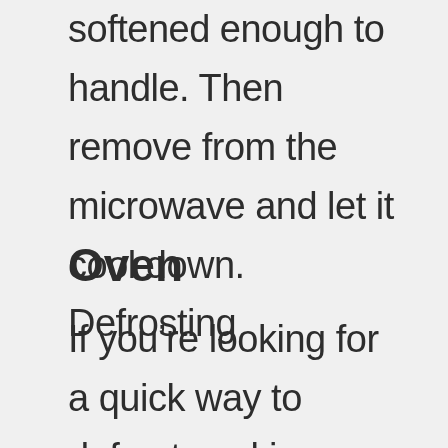medium high until the dough is softened enough to handle. Then remove from the microwave and let it cool down. Defrosting
Oven
If you’re looking for a quick way to defrost cookies, breads, or anything else, try putting it in the